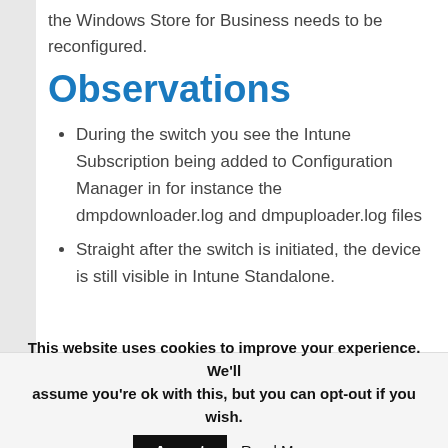the Windows Store for Business needs to be reconfigured.
Observations
During the switch you see the Intune Subscription being added to Configuration Manager in for instance the dmpdownloader.log and dmpuploader.log files
Straight after the switch is initiated, the device is still visible in Intune Standalone.
This website uses cookies to improve your experience. We'll assume you're ok with this, but you can opt-out if you wish. Accept Read More